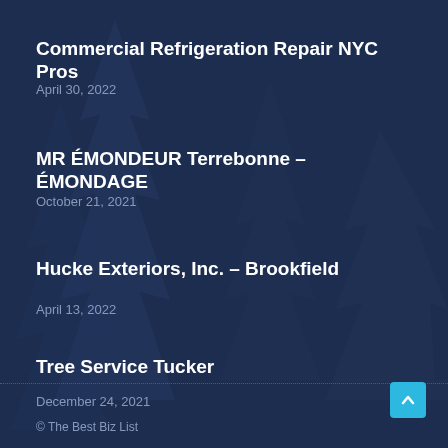Commercial Refrigeration Repair NYC Pros
April 30, 2022
MR ÉMONDEUR Terrebonne – ÉMONDAGE
October 21, 2021
Hucke Exteriors, Inc. – Brookfield
April 13, 2022
Tree Service Tucker
December 24, 2021
© The Best Biz List